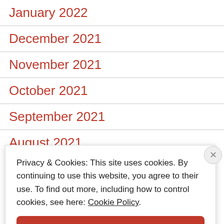January 2022
December 2021
November 2021
October 2021
September 2021
August 2021 (partial)
Privacy & Cookies: This site uses cookies. By continuing to use this website, you agree to their use. To find out more, including how to control cookies, see here: Cookie Policy
Close and accept